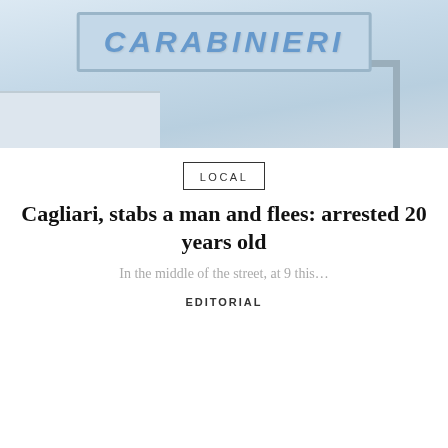[Figure (photo): Photo of a Carabinieri (Italian police) sign/billboard on a pole against a light sky background, with a partial building visible at lower left. The sign reads CARABINIERI in large blue italic letters on a grey-blue background.]
LOCAL
Cagliari, stabs a man and flees: arrested 20 years old
In the middle of the street, at 9 this…
EDITORIAL